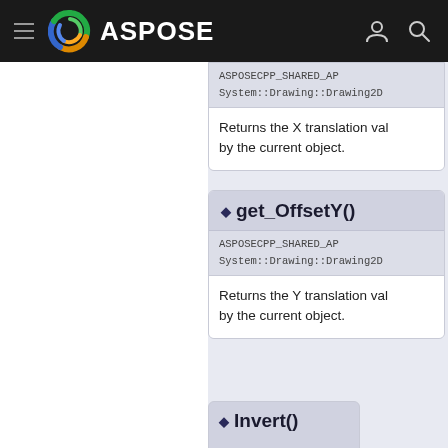ASPOSE - navigation bar
get_OffsetX()
ASPOSECPP_SHARED_AP
System::Drawing::Drawing2D
Returns the X translation val by the current object.
get_OffsetY()
ASPOSECPP_SHARED_AP
System::Drawing::Drawing2D
Returns the Y translation val by the current object.
Invert()